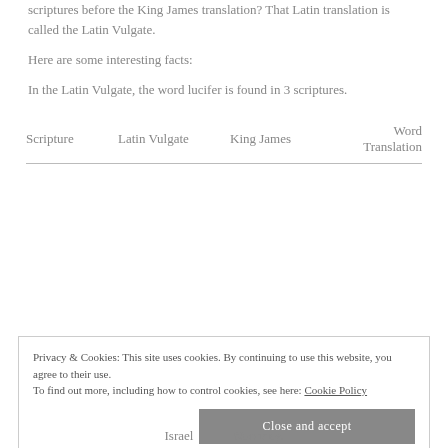scriptures before the King James translation? That Latin translation is called the Latin Vulgate.
Here are some interesting facts:
In the Latin Vulgate, the word lucifer is found in 3 scriptures.
| Scripture | Latin Vulgate | King James | Word Translation |
| --- | --- | --- | --- |
Privacy & Cookies: This site uses cookies. By continuing to use this website, you agree to their use.
To find out more, including how to control cookies, see here: Cookie Policy
Close and accept
Israel   Noonday.